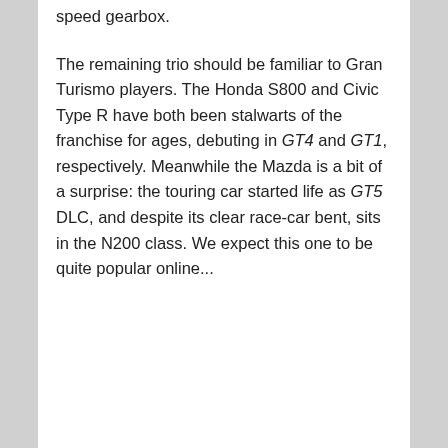speed gearbox.
The remaining trio should be familiar to Gran Turismo players. The Honda S800 and Civic Type R have both been stalwarts of the franchise for ages, debuting in GT4 and GT1, respectively. Meanwhile the Mazda is a bit of a surprise: the touring car started life as GT5 DLC, and despite its clear race-car bent, sits in the N200 class. We expect this one to be quite popular online...